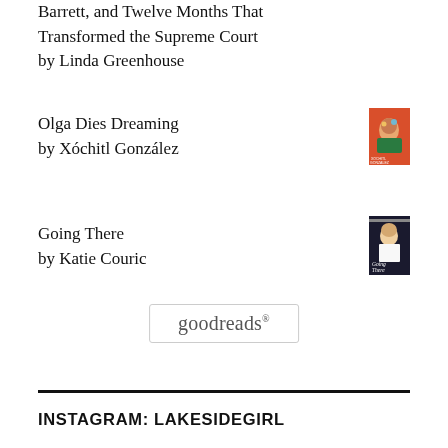Barrett, and Twelve Months That Transformed the Supreme Court by Linda Greenhouse
Olga Dies Dreaming by Xóchitl González
[Figure (illustration): Book cover of Olga Dies Dreaming by Xóchitl González – colorful illustration on orange/red background]
Going There by Katie Couric
[Figure (photo): Book cover of Going There by Katie Couric – dark background with photo of Katie Couric]
[Figure (logo): Goodreads logo in a rounded rectangle border]
INSTAGRAM: LAKESIDEGIRL